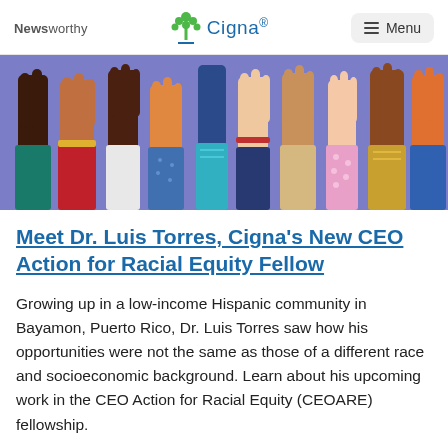Newsworthy | Cigna® | Menu
[Figure (illustration): Illustration of diverse raised hands with different skin tones and sleeve colors against a purple/blue background]
Meet Dr. Luis Torres, Cigna's New CEO Action for Racial Equity Fellow
Growing up in a low-income Hispanic community in Bayamon, Puerto Rico, Dr. Luis Torres saw how his opportunities were not the same as those of a different race and socioeconomic background. Learn about his upcoming work in the CEO Action for Racial Equity (CEOARE) fellowship.